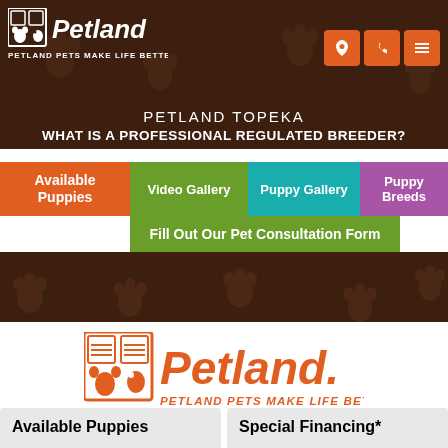[Figure (logo): Petland logo in white with paw print icon on dark brown header]
PETLAND TOPEKA
WHAT IS A PROFESSIONAL REGULATED BREEDER?
Available Puppies
Video Gallery
Puppy Gallery
Puppy Breeds
Fill Out Our Pet Consultation Form
[Figure (logo): Large orange Petland logo with paw print icon and tagline PETLAND PETS MAKE LIFE BETTER!]
Available Puppies
Special Financing*